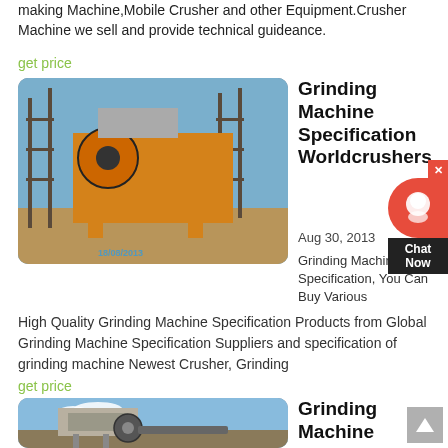making Machine,Mobile Crusher and other Equipment.Crusher Machine we sell and provide technical guideance.
get price
[Figure (photo): Construction site with large orange jaw crusher machine and scaffolding, with date watermark 18/08/2013]
Grinding Machine Specification Worldcrushers
Aug 30, 2013
Grinding Machine Specification, You Can Buy Various High Quality Grinding Machine Specification Products from Global Grinding Machine Specification Suppliers and specification of grinding machine Newest Crusher, Grinding
get price
[Figure (photo): Industrial crushing/grinding machine equipment against blue sky]
Grinding Machine Specification Crusher Mills, Cone